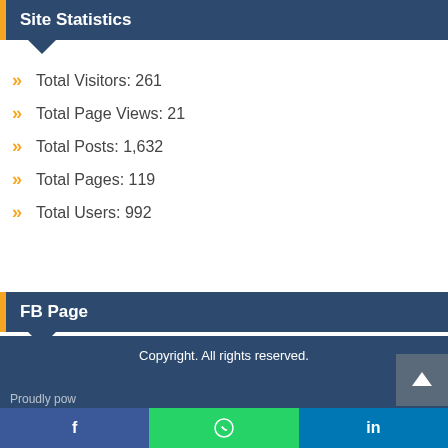Site Statistics
Total Visitors: 261
Total Page Views: 21
Total Posts: 1,632
Total Pages: 119
Total Users: 992
FB Page
Copyright. All rights reserved.
Prowdly pow...